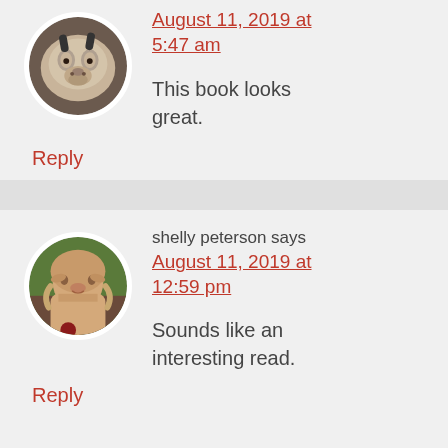[Figure (photo): Circular avatar photo of a cow/animal face close-up]
August 11, 2019 at 5:47 am
This book looks great.
Reply
[Figure (photo): Circular avatar photo of a woman (shelly peterson) smiling outdoors]
shelly peterson says
August 11, 2019 at 12:59 pm
Sounds like an interesting read.
Reply